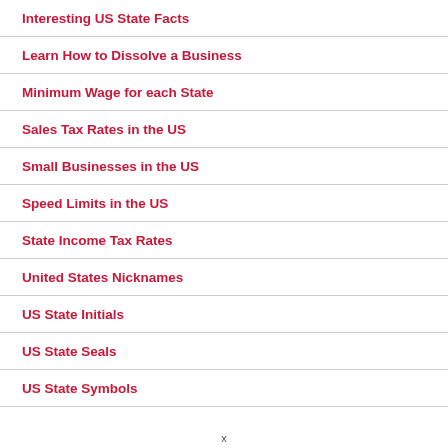Interesting US State Facts
Learn How to Dissolve a Business
Minimum Wage for each State
Sales Tax Rates in the US
Small Businesses in the US
Speed Limits in the US
State Income Tax Rates
United States Nicknames
US State Initials
US State Seals
US State Symbols
x